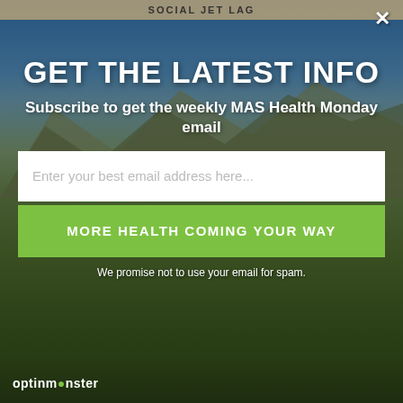SOCIAL JET LAG
GET THE LATEST INFO
Subscribe to get the weekly MAS Health Monday email
Enter your best email address here...
MORE HEALTH COMING YOUR WAY
We promise not to use your email for spam.
optinmonster